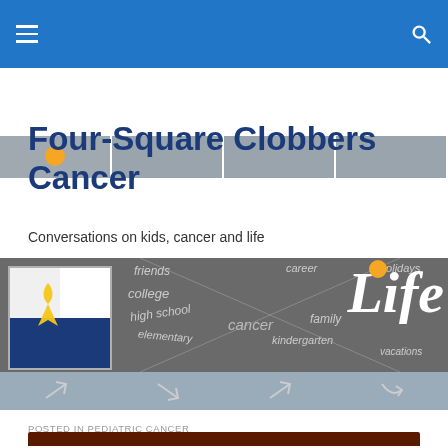Four-Square Clobbers Cancer — navigation bar with hamburger menu and search icon
[Figure (screenshot): Thumbnail strip of website header images, partially visible]
Four-Square Clobbers Cancer
Conversations on kids, cancer and life
[Figure (illustration): Blog banner image showing a chalkboard with words: friends, career, college, holidays, high school, cancer, family, elementary, kindergarten, vacations; a gold ribbon logo on white/blue squares at left; and large white italic 'Life' text with orange dot at right]
POSTED IN PEDIATRIC CANCER